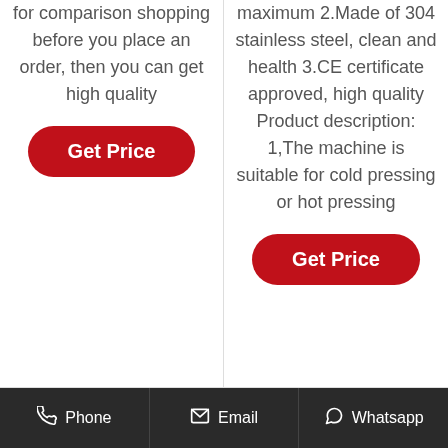for comparison shopping before you place an order, then you can get high quality
Get Price
maximum 2.Made of 304 stainless steel, clean and health 3.CE certificate approved, high quality Product description: 1,The machine is suitable for cold pressing or hot pressing
Get Price
Phone   Email   Whatsapp